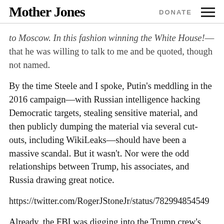Mother Jones  DONATE
to Moscow. In this fashion winning the White House!—that he was willing to talk to me and be quoted, though not named.
By the time Steele and I spoke, Putin's meddling in the 2016 campaign—with Russian intelligence hacking Democratic targets, stealing sensitive material, and then publicly dumping the material via several cut-outs, including WikiLeaks—should have been a massive scandal. But it wasn't. Nor were the odd relationships between Trump, his associates, and Russia drawing great notice.
https://twitter.com/RogerJStoneJr/status/782994854549
Already, the FBI was digging into the Trump crew's